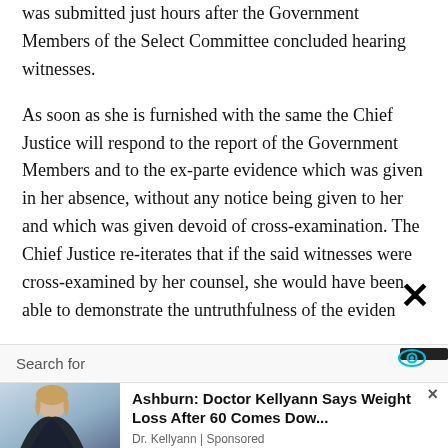was submitted just hours after the Government Members of the Select Committee concluded hearing witnesses.
As soon as she is furnished with the same the Chief Justice will respond to the report of the Government Members and to the ex-parte evidence which was given in her absence, without any notice being given to her and which was given devoid of cross-examination. The Chief Justice re-iterates that if the said witnesses were cross-examined by her counsel, she would have been able to demonstrate the untruthfulness of the eviden
Search for
[Figure (photo): Advertisement banner showing a woman and text: Ashburn: Doctor Kellyann Says Weight Loss After 60 Comes Dow... Dr. Kellyann | Sponsored]